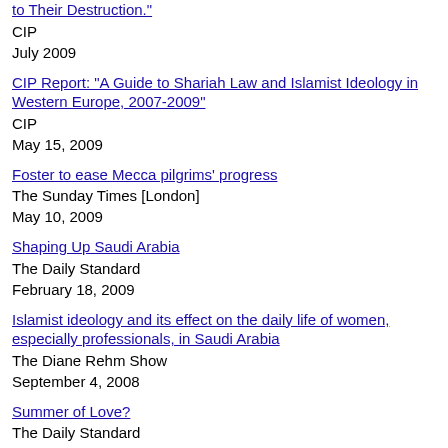to Their Destruction."
CIP
July 2009
CIP Report: "A Guide to Shariah Law and Islamist Ideology in Western Europe, 2007-2009"
CIP
May 15, 2009
Foster to ease Mecca pilgrims' progress
The Sunday Times [London]
May 10, 2009
Shaping Up Saudi Arabia
The Daily Standard
February 18, 2009
Islamist ideology and its effect on the daily life of women, especially professionals, in Saudi Arabia
The Diane Rehm Show
September 4, 2008
Summer of Love?
The Daily Standard
July 22, 2008
Protest Arrest of Shia Cleric in Saudi Arabia